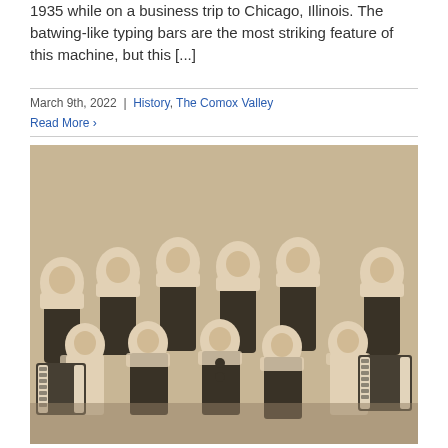1935 while on a business trip to Chicago, Illinois. The batwing-like typing bars are the most striking feature of this machine, but this [...]
March 9th, 2022  |  History, The Comox Valley
Read More ›
[Figure (photo): Sepia-toned vintage group photo of approximately 11 people dressed in Pierrot clown costumes (black and white outfits with ruffled collars). They are posed in two rows — standing in back and seated/kneeling in front. Several people in the front row are holding accordions.]